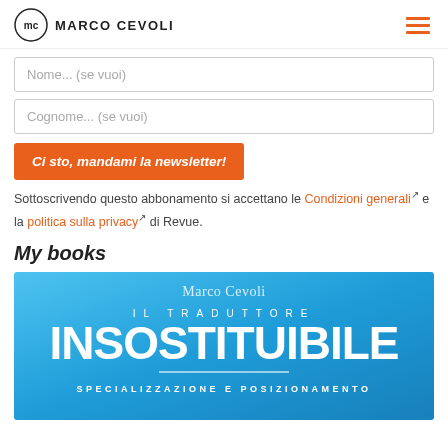MARCO CEVOLI
Nome... (se vuoi)
Cognome... (se vuoi)
Ci sto, mandami la newsletter!
Sottoscrivendo questo abbonamento si accettano le Condizioni generali e la politica sulla privacy di Revue.
My books
[Figure (photo): Book cover for 'Il Traduttore Insostituibile' by Marco Cevoli. Blue gradient background with author name at top, large title text 'IL TRADUTTORE INSOSTITUIBILE', horizontal divider, and subtitle 'SPECIALIZZAZIONE E POSIZIONAMENTO']